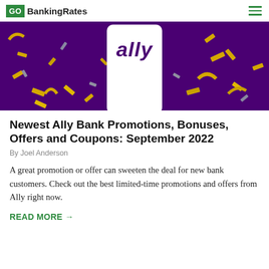GOBankingRates
[Figure (photo): Ally bank promotional image with purple background, gold confetti, and a smartphone showing the Ally logo text on screen]
Newest Ally Bank Promotions, Bonuses, Offers and Coupons: September 2022
By Joel Anderson
A great promotion or offer can sweeten the deal for new bank customers. Check out the best limited-time promotions and offers from Ally right now.
READ MORE →